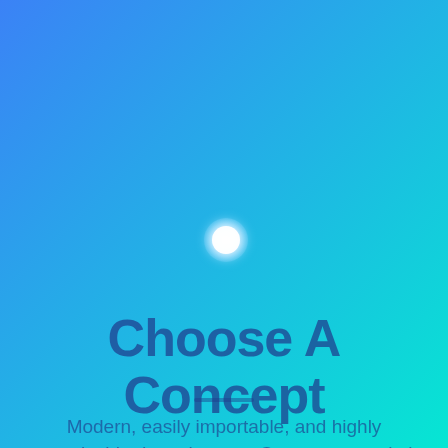[Figure (illustration): A gradient background from blue (top-left) to cyan (bottom-right) with a glowing white circular orb in the center, and the heading 'Choose A Concept' with a divider and subtitle text below.]
Choose A Concept
Modern, easily importable, and highly customizable demo layouts. Create your website without any